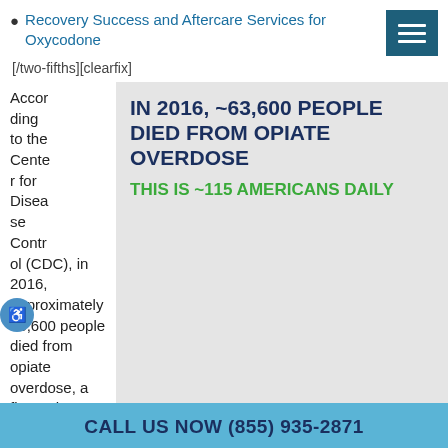Recovery Success and Aftercare Services for Oxycodone
[/two-fifths][clearfix]
According to the Center for Disease Control (CDC), in 2016, approximately 63,600 people died from opiate overdose, a figure that equates to approximately 115 Americans daily. Tragically, the number of opiate-related deaths was five times higher than it was in 1999, directly or indirectly affecting the lives of millions.
[Figure (infographic): Gray box with bold dark navy text: IN 2016, ~63,600 PEOPLE DIED FROM OPIATE OVERDOSE. Below in green: THIS IS ~115 AMERICANS DAILY]
CALL US NOW (855) 935-2871